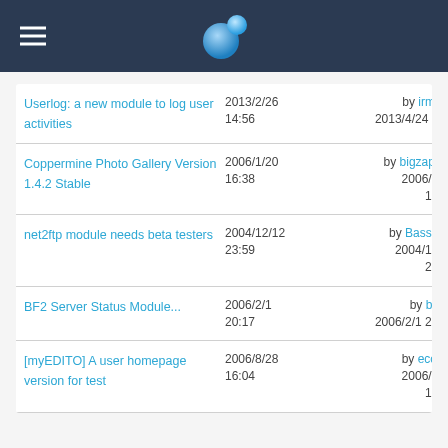Navigation header with logo
Userlog: a new module to log user activities | 2013/2/26 14:56 | by irmtfan 2013/4/24 4:25
Coppermine Photo Gallery Version 1.4.2 Stable | 2006/1/20 16:38 | by bigzaphod 2006/1/20 16:38
net2ftp module needs beta testers | 2004/12/12 23:59 | by Bassman 2004/12/12 23:59
BF2 Server Status Module... | 2006/2/1 20:17 | by birdie 2006/2/1 20:17
[myEDITO] A user homepage version for test | 2006/8/28 16:04 | by ecolips 2006/8/28 16:04